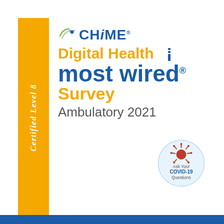[Figure (logo): CHIME Digital Health Most Wired Survey Ambulatory 2021 certification badge. Gold vertical bar on the left with 'Certified Level 8' text rotated vertically. Main area shows CHIME logo with arc graphic, 'Digital Health' in gold with wifi icon, 'most wired' in blue, 'Survey' in gold, 'Ambulatory 2021' in gray. Bottom-right has a circular COVID-19 badge reading 'Ask Your COVID-19 Questions'. Blue bar at bottom.]